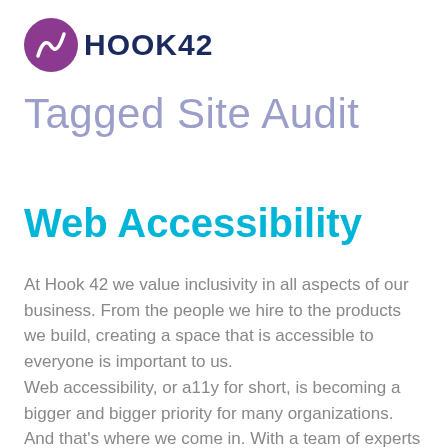[Figure (logo): Hook 42 logo: purple circle with stylized 'h' letter, next to bold dark blue text 'HOOK42']
Tagged Site Audit
Web Accessibility
At Hook 42 we value inclusivity in all aspects of our business. From the people we hire to the products we build, creating a space that is accessible to everyone is important to us.
Web accessibility, or a11y for short, is becoming a bigger and bigger priority for many organizations. And that's where we come in. With a team of experts working by